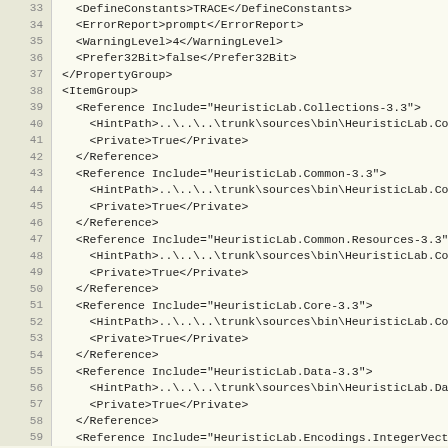33  <DefineConstants>TRACE</DefineConstants>
34  <ErrorReport>prompt</ErrorReport>
35  <WarningLevel>4</WarningLevel>
36  <Prefer32Bit>false</Prefer32Bit>
37  </PropertyGroup>
38  <ItemGroup>
39    <Reference Include="HeuristicLab.Collections-3.3">
40      <HintPath>..\..\..\ trunk\sources\bin\HeuristicLab.Coll
41      <Private>True</Private>
42    </Reference>
43    <Reference Include="HeuristicLab.Common-3.3">
44      <HintPath>..\..\..\ trunk\sources\bin\HeuristicLab.Comm
45      <Private>True</Private>
46    </Reference>
47    <Reference Include="HeuristicLab.Common.Resources-3.3">
48      <HintPath>..\..\..\ trunk\sources\bin\HeuristicLab.Comm
49      <Private>True</Private>
50    </Reference>
51    <Reference Include="HeuristicLab.Core-3.3">
52      <HintPath>..\..\..\ trunk\sources\bin\HeuristicLab.Core
53      <Private>True</Private>
54    </Reference>
55    <Reference Include="HeuristicLab.Data-3.3">
56      <HintPath>..\..\..\ trunk\sources\bin\HeuristicLab.Data
57      <Private>True</Private>
58    </Reference>
59    <Reference Include="HeuristicLab.Encodings.IntegerVector